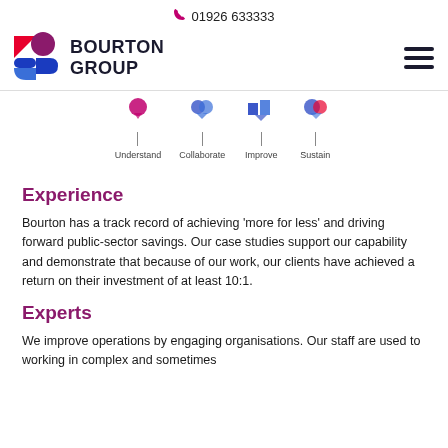01926 633333
[Figure (logo): Bourton Group logo with colourful B icon and bold text BOURTON GROUP]
[Figure (infographic): Process strip showing four steps: Understand, Collaborate, Improve, Sustain with icons and vertical stems]
Experience
Bourton has a track record of achieving ‘more for less’ and driving forward public-sector savings. Our case studies support our capability and demonstrate that because of our work, our clients have achieved a return on their investment of at least 10:1.
Experts
We improve operations by engaging organisations. Our staff are used to working in complex and sometimes